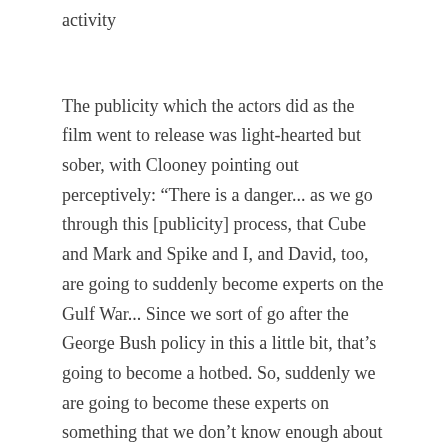activity
The publicity which the actors did as the film went to release was light-hearted but sober, with Clooney pointing out perceptively: “There is a danger... as we go through this [publicity] process, that Cube and Mark and Spike and I, and David, too, are going to suddenly become experts on the Gulf War... Since we sort of go after the George Bush policy in this a little bit, that’s going to become a hotbed. So, suddenly we are going to become these experts on something that we don’t know enough about to be the experts on. We know some.”
Their knowledge (or lack thereof) of their subject didn’t stop many critics from piling praise on the film. The Chicago Sun-Times’ Roger Ebert said: “Three Kings is some kind of weird masterpiece, a screw-loose war picture that sends action and humor crashing head-on into each other and spinning off into political anger. It has the freedom and recklessness of Oliver Stone or Robert Altman in